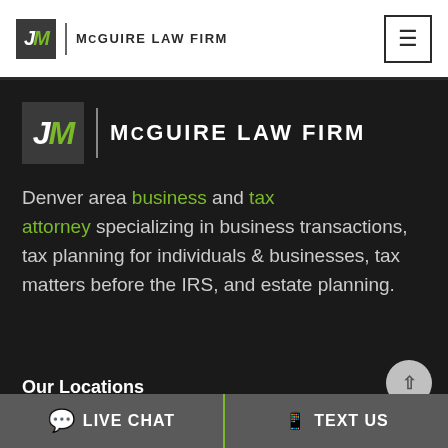JM | McGUIRE LAW FIRM
[Figure (logo): McGUIRE LAW FIRM logo — JM monogram in dark box with green M, followed by firm name text, large version on dark background]
Denver area business and tax attorney specializing in business transactions, tax planning for individuals & businesses, tax matters before the IRS, and estate planning.
Our Locations
LIVE CHAT   TEXT US